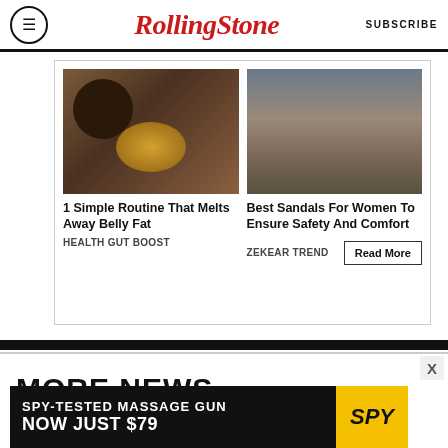RollingStone | SUBSCRIBE
[Figure (photo): Man with glasses holding a bowl with lemon slices]
1 Simple Routine That Melts Away Belly Fat
HEALTH GUT BOOST
[Figure (photo): Close-up of feet wearing gray sandals/flats with jeans]
Best Sandals For Women To Ensure Safety And Comfort
ZEKEAR TREND
Read More
MORE NEWS
[Figure (screenshot): SPY advertisement: SPY-TESTED MASSAGE GUN NOW JUST $79 with SPY logo in yellow]